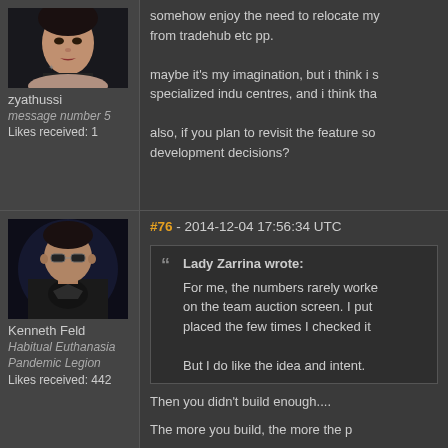[Figure (photo): Avatar portrait of zyathussi, female character with dark hair]
zyathussi
message number 5
Likes received: 1
somehow enjoy the need to relocate my from tradehub etc pp.

maybe it's my imagination, but i think i s specialized indu centres, and i think tha

also, if you plan to revisit the feature so development decisions?
[Figure (photo): Avatar portrait of Kenneth Feld, male character with sunglasses and black t-shirt]
Kenneth Feld
Habitual Euthanasia Pandemic Legion
Likes received: 442
#76 - 2014-12-04 17:56:34 UTC
Lady Zarrina wrote:
For me, the numbers rarely worke on the team auction screen. I put placed the few times I checked it

But I do like the idea and intent.
Then you didn't build enough....
The more you build, the more the p